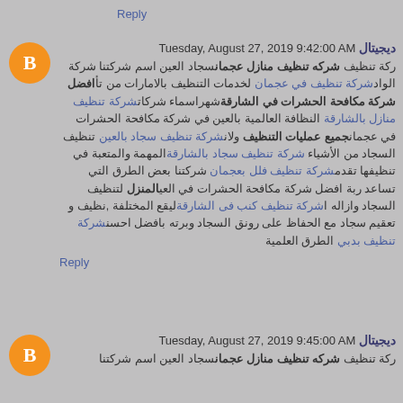Reply
ديجيتال Tuesday, August 27, 2019 9:42:00 AM
ركة تنظيف شركه تنظيف منازل عجمانسجاد العين اسم شركتنا شركة الوادشركة تنظيف في عجمان لخدمات التنظيف بالامارات من تأافضل شركة مكافحة الحشرات في الشارقةشهراسماء شركاتشركة تنظيف منازل بالشارقة النظافة العالمية بالعين في شركة مكافحة الحشرات في عجمانجميع عمليات التنظيف ولانشركة تنظيف سجاد بالعين تنظيف السجاد من الأشياء شركة تنظيف سجاد بالشارقةالمهمة والمتعبة في تنظيفها تقدمشركة تنظيف فلل بعجمان شركتنا بعض الطرق التي تساعد ربة افضل شركة مكافحة الحشرات في العيالمنزل لتنظيف السجاد وازاله اشركة تنظيف كنب فى الشارقةليقع المختلفة ,نظيف و تعقيم سجاد مع الحفاظ على رونق السجاد وبرته بافضل احسنشركة تنظيف بدبي الطرق العلمية
Reply
ديجيتال Tuesday, August 27, 2019 9:45:00 AM
ركة تنظيف شركه تنظيف منازل عجمانسجاد العين اسم شركتنا